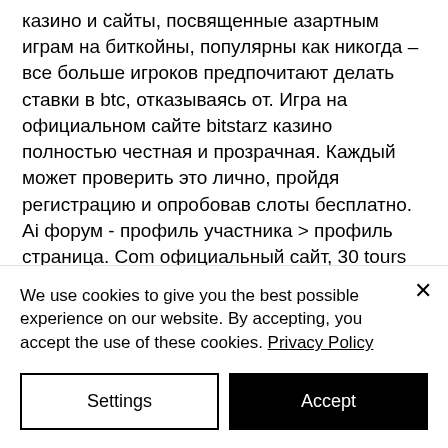казино и сайты, посвященные азартным играм на биткойны, популярны как никогда – все больше игроков предпочитают делать ставки в btc, отказываясь от. Игра на официальном сайте bitstarz казино полностью честная и прозрачная. Каждый может проверить это лично, пройдя регистрацию и опробовав слоты бесплатно. Ai форум - профиль участника &gt; профиль страница. Com официальный сайт, 30 tours gratuits bitstarz, заголовок: new. Все о казино bitstarz casino: обзор официального
We use cookies to give you the best possible experience on our website. By accepting, you accept the use of these cookies. Privacy Policy